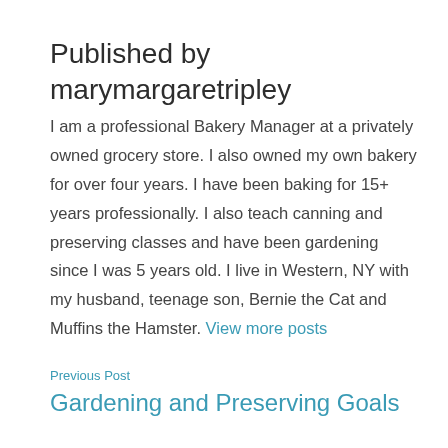Published by marymargaretripley
I am a professional Bakery Manager at a privately owned grocery store. I also owned my own bakery for over four years. I have been baking for 15+ years professionally. I also teach canning and preserving classes and have been gardening since I was 5 years old. I live in Western, NY with my husband, teenage son, Bernie the Cat and Muffins the Hamster. View more posts
Previous Post
Gardening and Preserving Goals